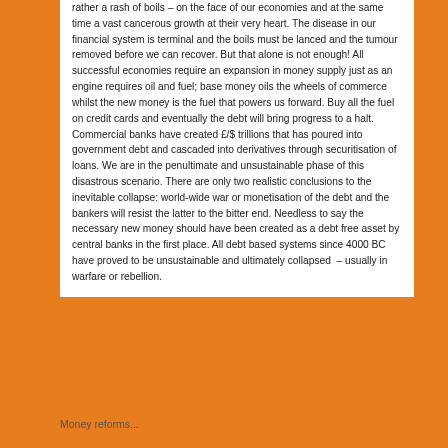rather a rash of boils – on the face of our economies and at the same time a vast cancerous growth at their very heart. The disease in our financial system is terminal and the boils must be lanced and the tumour removed before we can recover. But that alone is not enough! All successful economies require an expansion in money supply just as an engine requires oil and fuel; base money oils the wheels of commerce whilst the new money is the fuel that powers us forward. Buy all the fuel on credit cards and eventually the debt will bring progress to a halt. Commercial banks have created £/$ trillions that has poured into government debt and cascaded into derivatives through securitisation of loans. We are in the penultimate and unsustainable phase of this disastrous scenario. There are only two realistic conclusions to the inevitable collapse: world-wide war or monetisation of the debt and the bankers will resist the latter to the bitter end. Needless to say the necessary new money should have been created as a debt free asset by central banks in the first place. All debt based systems since 4000 BC have proved to be unsustainable and ultimately collapsed  – usually in warfare or rebellion.
Related Posts